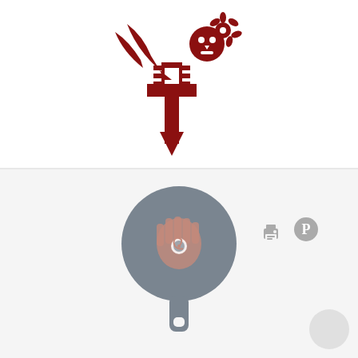[Figure (logo): Decorative red fleur-de-lis style logo with skull and floral elements in dark red/crimson color, centered in upper half of page]
[Figure (logo): Gray cast iron skillet logo with a hand/hamsa symbol and spiral eye motif in muted rose/mauve color, centered in lower half of page]
[Figure (illustration): Small gray printer icon in lower right area]
[Figure (illustration): Small gray Pinterest 'P' circular icon in lower right area]
[Figure (illustration): Light gray circular button/badge in bottom right corner]